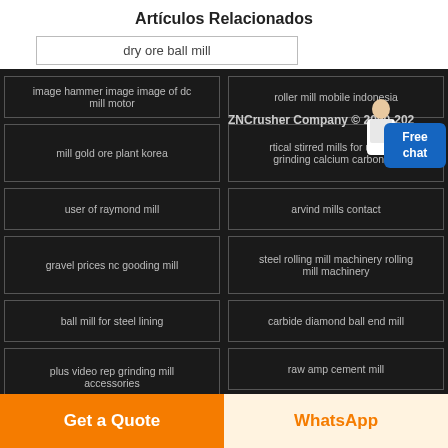Artículos Relacionados
dry ore ball mill
image hammer image image of dc mill motor
roller mill mobile indonesia
ZNCrusher Company © 2000-2023
mill gold ore plant korea
rtical stirred mills for ultrafine grinding calcium carbonate
user of raymond mill
arvind mills contact
gravel prices nc gooding mill
steel rolling mill machinery rolling mill machinery
ball mill for steel lining
carbide diamond ball end mill
plus video rep grinding mill accessories
raw amp cement mill
Copyrights.
gravel scrapers for sale canada
coal equipment mills processing
Get a Quote
WhatsApp